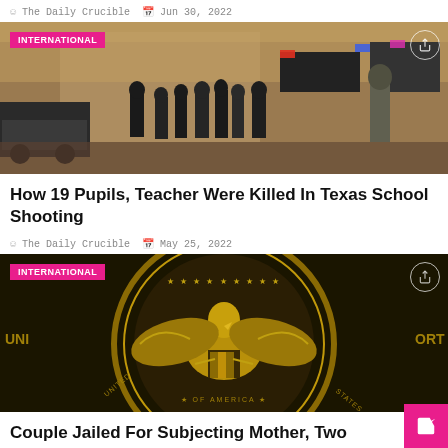The Daily Crucible  Jun 30, 2022
[Figure (photo): Police officers and law enforcement personnel gathered at scene of Texas school shooting, emergency vehicles in background]
How 19 Pupils, Teacher Were Killed In Texas School Shooting
The Daily Crucible  May 25, 2022
[Figure (photo): Close-up of US federal court seal in gold and black, showing eagle emblem]
Couple Jailed For Subjecting Mother, Two